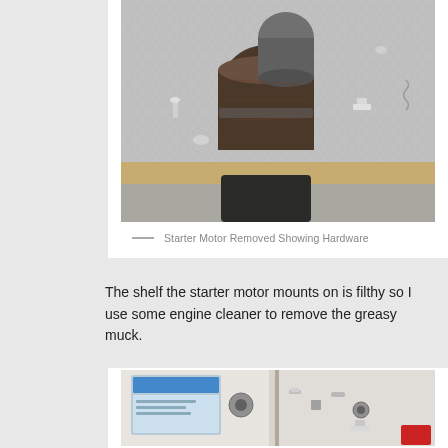[Figure (photo): Starter motor removed from vehicle, placed on a diamond-plate metal surface along with associated hardware bolts. The motor is cylindrical and rusty/dark. A horizontal wooden board is visible in the lower portion of the image.]
— Starter Motor Removed Showing Hardware
The shelf the starter motor mounts on is filthy so I use some engine cleaner to remove the greasy muck.
[Figure (photo): Workbench or shelf area showing engine cleaning supplies and parts laid out, partially visible at bottom of page.]